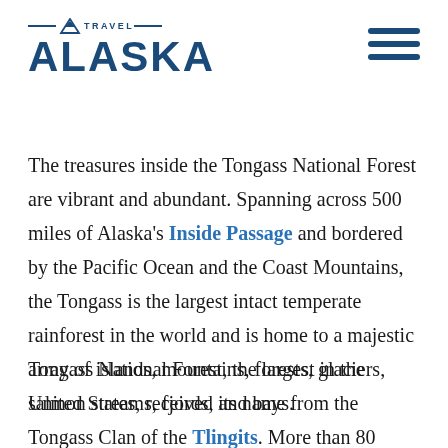[Figure (logo): Travel Alaska logo with mountain icon, horizontal lines, and large bold ALASKA text in dark navy blue]
[Figure (other): Hamburger menu icon with three horizontal dark navy blue bars]
The treasures inside the Tongass National Forest are vibrant and abundant. Spanning across 500 miles of Alaska's Inside Passage and bordered by the Pacific Ocean and the Coast Mountains, the Tongass is the largest intact temperate rainforest in the world and is home to a majestic array of islands, mountains, forests, glaciers, salmon streams, fjords, and bays.
Tongass National Forest, the largest in the United States, received its name from the Tongass Clan of the Tlingits. More than 80 percent of Southeast Alaska